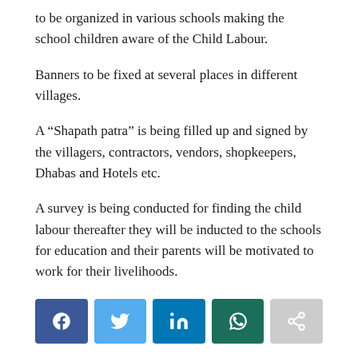to be organized in various schools making the school children aware of the Child Labour.
Banners to be fixed at several places in different villages.
A “Shapath patra” is being filled up and signed by the villagers, contractors, vendors, shopkeepers, Dhabas and Hotels etc.
A survey is being conducted for finding the child labour thereafter they will be inducted to the schools for education and their parents will be motivated to work for their livelihoods.
[Figure (other): Social media sharing buttons: Facebook, Twitter, LinkedIn, WhatsApp, and a generic share button]